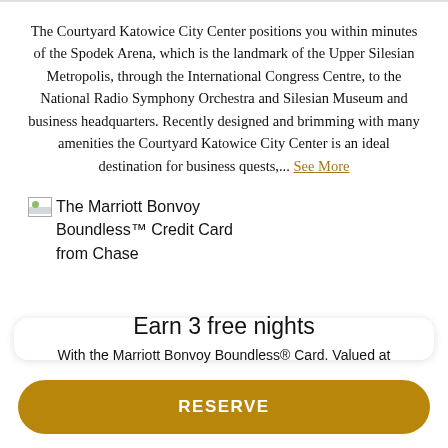The Courtyard Katowice City Center positions you within minutes of the Spodek Arena, which is the landmark of the Upper Silesian Metropolis, through the International Congress Centre, to the National Radio Symphony Orchestra and Silesian Museum and business headquarters. Recently designed and brimming with many amenities the Courtyard Katowice City Center is an ideal destination for business quests,... See More
[Figure (other): Broken image placeholder for The Marriott Bonvoy Boundless Credit Card from Chase advertisement]
Earn 3 free nights
With the Marriott Bonvoy Boundless® Card. Valued at
RESERVE